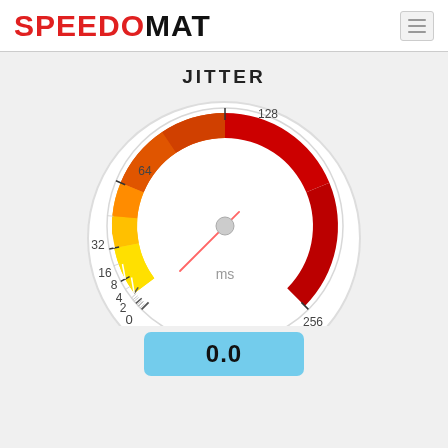SPEEDOMAT
JITTER
[Figure (other): Jitter gauge/speedometer showing scale 0-256 ms with colored arc (yellow to red), needle pointing at 0, and 'ms' label in center]
0.0